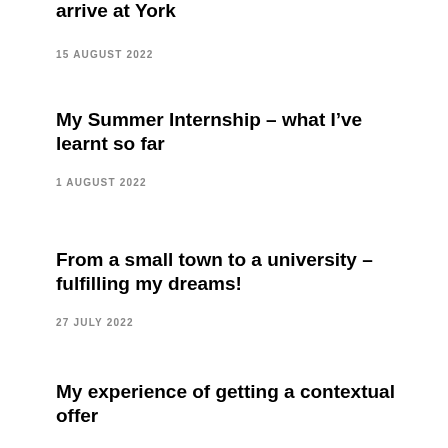arrive at York
15 AUGUST 2022
My Summer Internship – what I've learnt so far
1 AUGUST 2022
From a small town to a university – fulfilling my dreams!
27 JULY 2022
My experience of getting a contextual offer